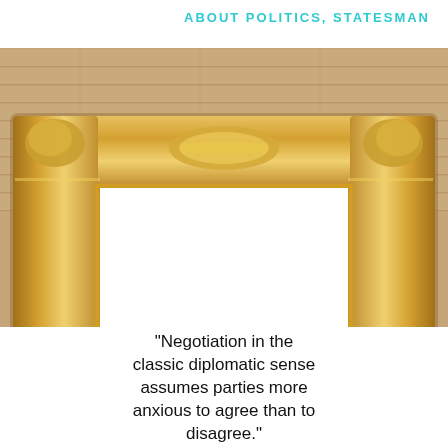ABOUT POLITICS, STATESMAN
[Figure (photo): An ornate gilded baroque picture frame leaning against a wooden-plank wall. The frame is large with elaborate gold decorative carvings. Inside the frame is a white empty area. Below the frame, a quote reads: “Negotiation in the classic diplomatic sense assumes parties more anxious to agree than to disagree.”]